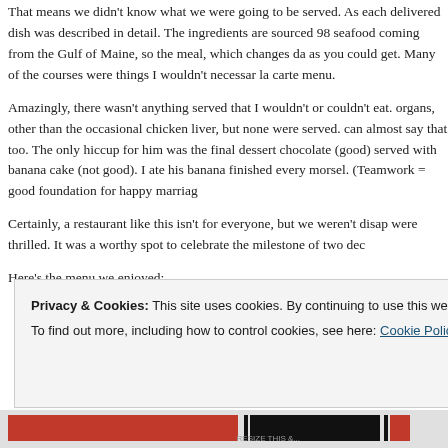That means we didn't know what we were going to be served. As each delivered dish was described in detail. The ingredients are sourced 98 seafood coming from the Gulf of Maine, so the meal, which changes da as you could get. Many of the courses were things I wouldn't necessar la carte menu.
Amazingly, there wasn't anything served that I wouldn't or couldn't eat. organs, other than the occasional chicken liver, but none were served. can almost say that too. The only hiccup for him was the final dessert chocolate (good) served with banana cake (not good). I ate his banana finished every morsel. (Teamwork = good foundation for happy marriag
Certainly, a restaurant like this isn't for everyone, but we weren't disap were thrilled. It was a worthy spot to celebrate the milestone of two dec
Here's the menu we enjoyed:
Privacy & Cookies: This site uses cookies. By continuing to use this website, you agree to their use.
To find out more, including how to control cookies, see here: Cookie Policy
[Close and accept]